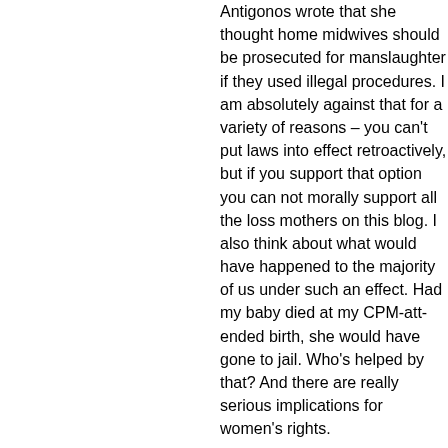Antigonos wrote that she thought home midwives should be prosecuted for manslaughter if they used illegal procedures. I am absolutely against that for a variety of reasons – you can't put laws into effect retroactively, but if you support that option you can not morally support all the loss mothers on this blog. I also think about what would have happened to the majority of us under such an effect. Had my baby died at my CPM-attended birth, she would have gone to jail. Who's helped by that? And there are really serious implications for women's rights.
That's light years away from punishing midwives (or people calling themselves midwives) for offering care while claiming they are qualified providers. I don't know where I stand, but I definitely think people need to be punished for practicing without education and skills, just like doctors are required to have a license.
Most people are in agreement that the US system is broken. What is it now, 10x more than any comparable industrialized nation? Still, many people are too happy to see legislation be introduced against behavior they think is wrong or dangerous. There are very few super-crazy hombirthers I would guess less than 5% of all homebirthers I wou...